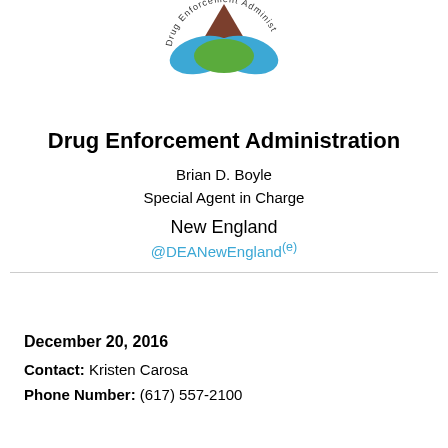[Figure (logo): DEA Drug Enforcement Administration circular logo with brown, blue, and green design, with text 'Drug Enforcement Administ...' around the edge]
Drug Enforcement Administration
Brian D. Boyle
Special Agent in Charge
New England
@DEANewEngland(e)
December 20, 2016
Contact: Kristen Carosa
Phone Number: (617) 557-2100